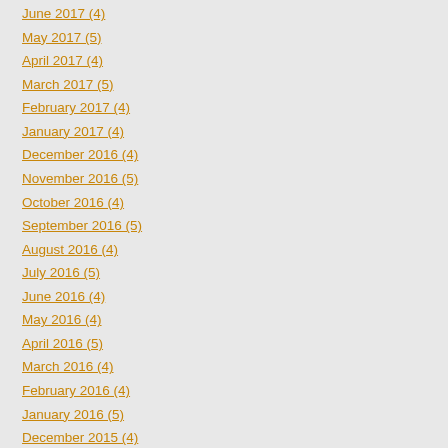June 2017 (4)
May 2017 (5)
April 2017 (4)
March 2017 (5)
February 2017 (4)
January 2017 (4)
December 2016 (4)
November 2016 (5)
October 2016 (4)
September 2016 (5)
August 2016 (4)
July 2016 (5)
June 2016 (4)
May 2016 (4)
April 2016 (5)
March 2016 (4)
February 2016 (4)
January 2016 (5)
December 2015 (4)
November 2015 (4)
October 2015 (4)
September 2015 (5)